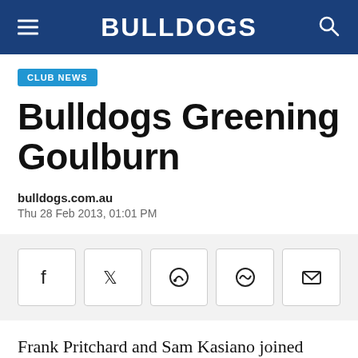BULLDOGS
CLUB NEWS
Bulldogs Greening Goulburn
bulldogs.com.au
Thu 28 Feb 2013, 01:01 PM
[Figure (other): Social share buttons: Facebook, Twitter, WhatsApp, Reddit, Email]
Frank Pritchard and Sam Kasiano joined Bulldogs in the Community partner Greening